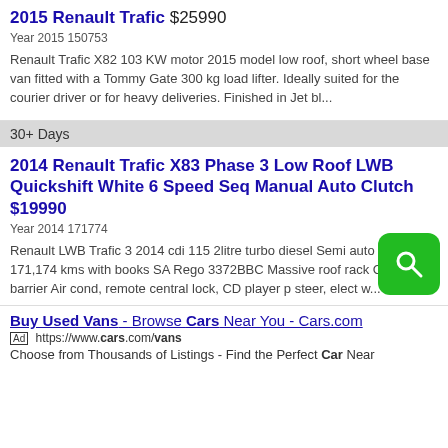2015 Renault Trafic $25990
Year 2015 150753
Renault Trafic X82 103 KW motor 2015 model low roof, short wheel base van fitted with a Tommy Gate 300 kg load lifter. Ideally suited for the courier driver or for heavy deliveries. Finished in Jet bl...
30+ Days
2014 Renault Trafic X83 Phase 3 Low Roof LWB Quickshift White 6 Speed Seq Manual Auto Clutch $19990
Year 2014 171774
Renault LWB Trafic 3 2014 cdi 115 2litre turbo diesel Semi auto Seats 3 171,174 kms with books SA Rego 3372BBC Massive roof rack Cargo barrier Air cond, remote central lock, CD player p steer, elect w...
Buy Used Vans - Browse Cars Near You - Cars.com
Ad https://www.cars.com/vans
Choose from Thousands of Listings - Find the Perfect Car Near